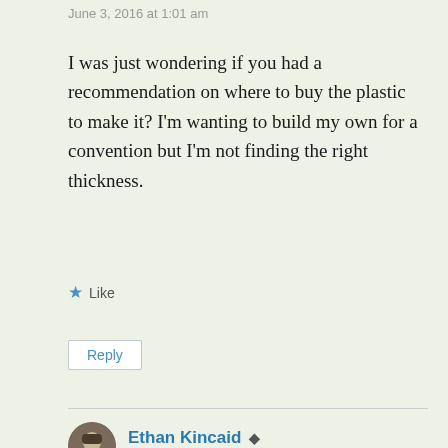June 3, 2016 at 1:01 am
I was just wondering if you had a recommendation on where to buy the plastic to make it? I’m wanting to build my own for a convention but I’m not finding the right thickness.
★ Like
Reply
Ethan Kincaid
June 3, 2016 at 6:10 pm
That is difficult. I buy mine from VINK here in Finland. If you are in Canada, I can tell you my